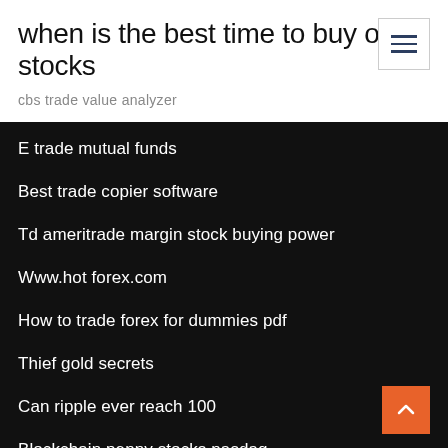when is the best time to buy oil stocks
cbs trade value analyzer
E trade mutual funds
Best trade copier software
Td ameritrade margin stock buying power
Www.hot forex.com
How to trade forex for dummies pdf
Thief gold secrets
Can ripple ever reach 100
Blockchain penny stocks nasdaq
Forex bullish and bearish